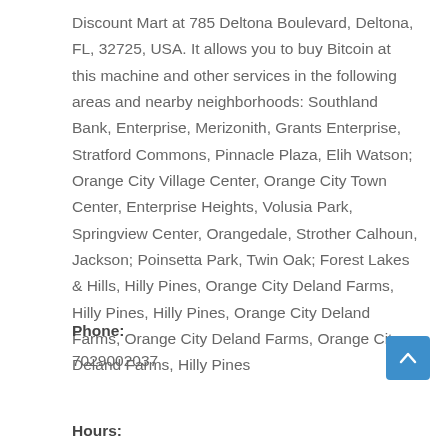Discount Mart at 785 Deltona Boulevard, Deltona, FL, 32725, USA. It allows you to buy Bitcoin at this machine and other services in the following areas and nearby neighborhoods: Southland Bank, Enterprise, Merizonith, Grants Enterprise, Stratford Commons, Pinnacle Plaza, Elih Watson; Orange City Village Center, Orange City Town Center, Enterprise Heights, Volusia Park, Springview Center, Orangedale, Strother Calhoun, Jackson; Poinsetta Park, Twin Oak; Forest Lakes & Hills, Hilly Pines, Orange City Deland Farms, Hilly Pines, Hilly Pines, Orange City Deland Farms, Orange City Deland Farms, Orange City Deland Farms, Hilly Pines
Phone:
7029002037
Hours: